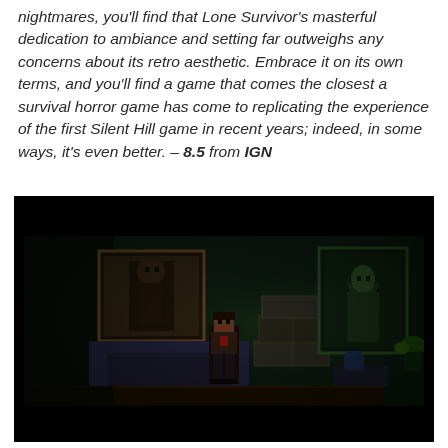nightmares, you'll find that Lone Survivor's masterful dedication to ambiance and setting far outweighs any concerns about its retro aesthetic. Embrace it on its own terms, and you'll find a game that comes the closest a survival horror game has come to replicating the experience of the first Silent Hill game in recent years; indeed, in some ways, it's even better. – 8.5 from IGN
[Figure (screenshot): A dark, pixelated side-scrolling game screenshot from Lone Survivor showing a character standing in a dimly lit room with framed pictures on green-tinted brick walls, a couch, and stacked boxes. The scene is rendered in a retro pixel art style with dark, moody lighting.]